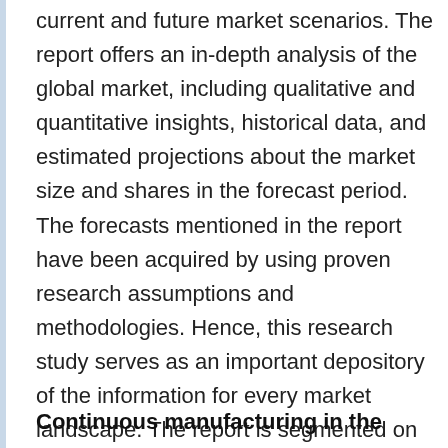current and future market scenarios. The report offers an in-depth analysis of the global market, including qualitative and quantitative insights, historical data, and estimated projections about the market size and shares in the forecast period. The forecasts mentioned in the report have been acquired by using proven research assumptions and methodologies. Hence, this research study serves as an important depository of the information for every market landscape. The report is segmented on the basis of types, end-users, applications, and regional markets.
Continuous manufacturing in the